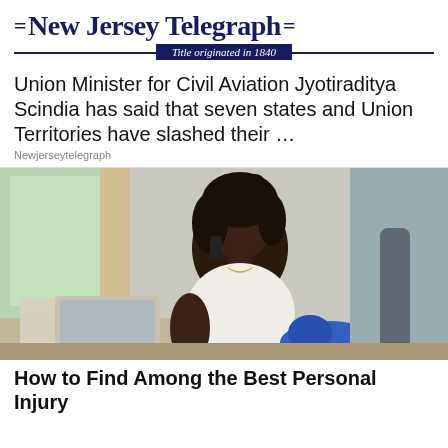=New Jersey Telegraph= Title originated in 1840
Union Minister for Civil Aviation Jyotiraditya Scindia has said that seven states and Union Territories have slashed their …
Newjerseytelegraph
[Figure (photo): Woman with dark curly hair sitting at a desk, talking on a phone, with a blue cast on her arm and a laptop in front of her. Window with natural light in background.]
How to Find Among the Best Personal Injury